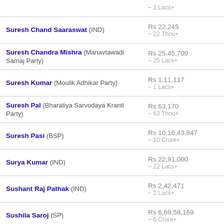~ 1 Lacs+
Suresh Chand Saaraswat (IND) — Rs 22,245 ~ 22 Thou+
Suresh Chandra Mishra (Manavtawadi Samaj Party) — Rs 25,45,709 ~ 25 Lacs+
Suresh Kumar (Moulik Adhikar Party) — Rs 1,11,117 ~ 1 Lacs+
Suresh Pal (Bharatiya Sarvodaya Kranti Party) — Rs 63,170 ~ 63 Thou+
Suresh Pasi (BSP) — Rs 10,16,43,847 ~ 10 Crore+
Surya Kumar (IND) — Rs 22,91,000 ~ 22 Lacs+
Sushant Raj Pathak (IND) — Rs 2,42,471 ~ 2 Lacs+
Sushila Saroj (SP) — Rs 6,69,58,169 ~ 6 Crore+
Swadesh Kumar (IND) — Rs 6,16,631 ~ 6 Lacs+